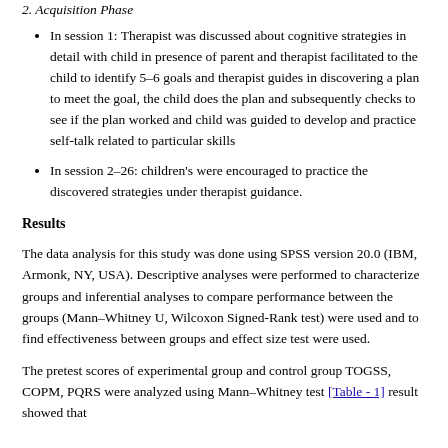2. Acquisition Phase
In session 1: Therapist was discussed about cognitive strategies in detail with child in presence of parent and therapist facilitated to the child to identify 5–6 goals and therapist guides in discovering a plan to meet the goal, the child does the plan and subsequently checks to see if the plan worked and child was guided to develop and practice self-talk related to particular skills
In session 2–26: children's were encouraged to practice the discovered strategies under therapist guidance.
Results
The data analysis for this study was done using SPSS version 20.0 (IBM, Armonk, NY, USA). Descriptive analyses were performed to characterize groups and inferential analyses to compare performance between the groups (Mann–Whitney U, Wilcoxon Signed-Rank test) were used and to find effectiveness between groups and effect size test were used.
The pretest scores of experimental group and control group TOGSS, COPM, PQRS were analyzed using Mann–Whitney test [Table - 1] result showed that